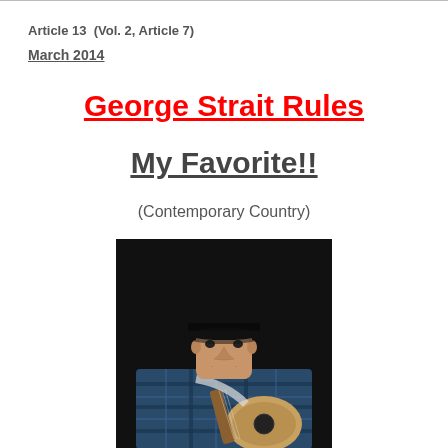Article 13  (Vol. 2, Article 7)
March 2014
George Strait Rules
My Favorite!!
(Contemporary Country)
[Figure (photo): Man wearing a black cowboy hat and blue plaid shirt playing an acoustic guitar on stage, photographed against a dark background. Identified as George Strait.]